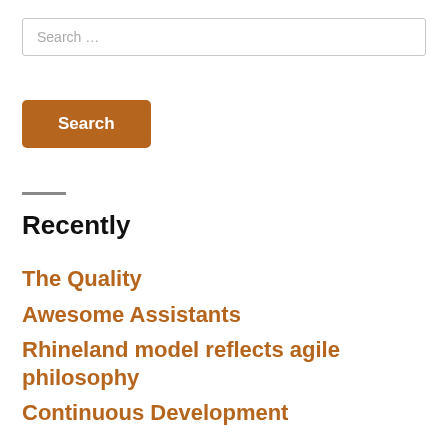Search …
Search
Recently
The Quality
Awesome Assistants
Rhineland model reflects agile philosophy
Continuous Development